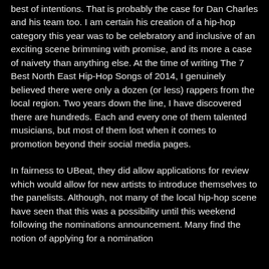best of intentions. That is probably the case for Dan Charles and his team too. I am certain his creation of a hip-hop category this year was to be celebratory and inclusive of an exciting scene brimming with promise, and its more a case of naivety than anything else. At the time of writing The 7 Best North East Hip-Hop Songs of 2014, I genuinely believed there were only a dozen (or less) rappers from the local region. Two years down the line, I have discovered there are hundreds. Each and every one of them talented musicians, but most of them lost when it comes to promotion beyond their social media pages.
In fairness to UBeat, they did allow applications for review which would allow for new artists to introduce themselves to the panelists. Although, not many of the local hip-hop scene have seen that this was a possibility until this weekend following the nominations announcement. Many find the notion of applying for a nomination